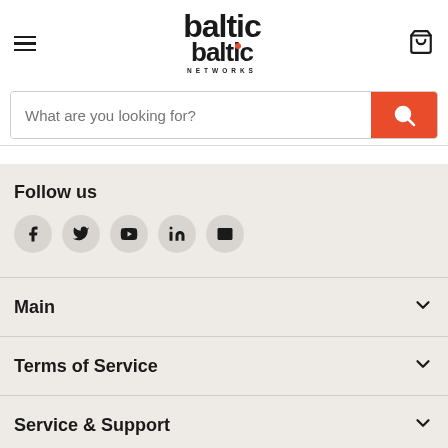Baltic Networks — navigation header with hamburger menu, logo, and cart icon
What are you looking for?
Follow us
[Figure (infographic): Social media icon circles: Facebook, Twitter/X, YouTube, LinkedIn, Email]
Main
Terms of Service
Service & Support